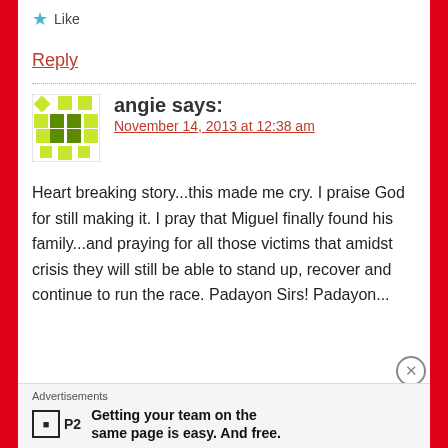★ Like
Reply
[Figure (illustration): Avatar image with green diamond/square pattern (identicon for user 'angie')]
angie says:
November 14, 2013 at 12:38 am
Heart breaking story...this made me cry. I praise God for still making it. I pray that Miguel finally found his family...and praying for all those victims that amidst crisis they will still be able to stand up, recover and continue to run the race. Padayon Sirs! Padayon...
Advertisements
Getting your team on the same page is easy. And free.